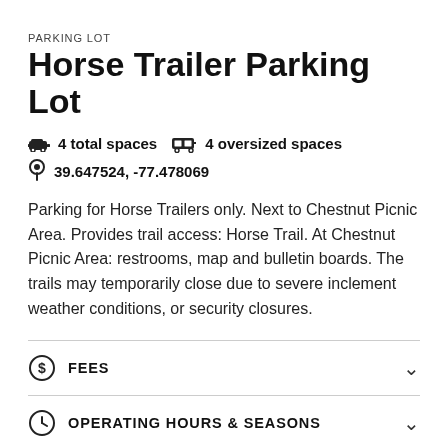PARKING LOT
Horse Trailer Parking Lot
4 total spaces   4 oversized spaces
39.647524, -77.478069
Parking for Horse Trailers only. Next to Chestnut Picnic Area. Provides trail access: Horse Trail. At Chestnut Picnic Area: restrooms, map and bulletin boards. The trails may temporarily close due to severe inclement weather conditions, or security closures.
FEES
OPERATING HOURS & SEASONS